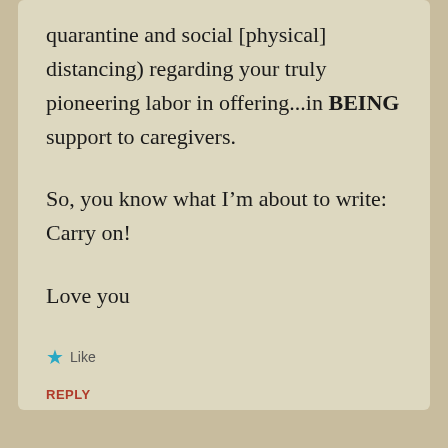quarantine and social [physical] distancing) regarding your truly pioneering labor in offering...in BEING support to caregivers.
So, you know what I'm about to write: Carry on!
Love you
★ Like
REPLY